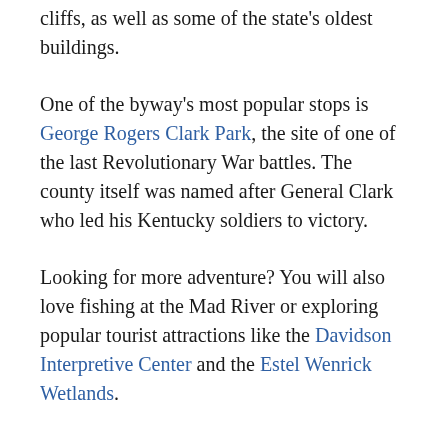cliffs, as well as some of the state's oldest buildings.
One of the byway's most popular stops is George Rogers Clark Park, the site of one of the last Revolutionary War battles. The county itself was named after General Clark who led his Kentucky soldiers to victory.
Looking for more adventure? You will also love fishing at the Mad River or exploring popular tourist attractions like the Davidson Interpretive Center and the Estel Wenrick Wetlands.
Have fun and stay safe